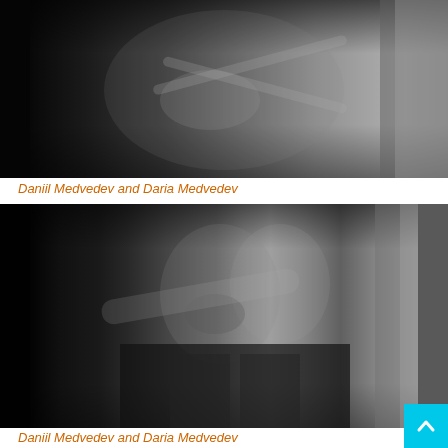[Figure (photo): Black and white photograph showing two people in close proximity, one person's hands on the other's crossed legs, intimate pose]
Daniil Medvedev and Daria Medvedev
[Figure (photo): Black and white photograph showing two people kissing closely, a man with beard and a woman wearing an earring]
Daniil Medvedev and Daria Medvedev